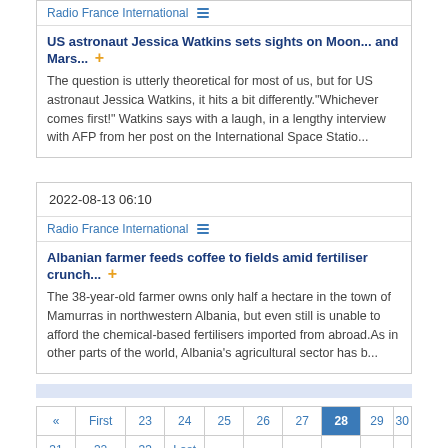Radio France International
US astronaut Jessica Watkins sets sights on Moon... and Mars...
The question is utterly theoretical for most of us, but for US astronaut Jessica Watkins, it hits a bit differently."Whichever comes first!" Watkins says with a laugh, in a lengthy interview with AFP from her post on the International Space Statio...
2022-08-13 06:10
Radio France International
Albanian farmer feeds coffee to fields amid fertiliser crunch...
The 38-year-old farmer owns only half a hectare in the town of Mamurras in northwestern Albania, but even still is unable to afford the chemical-based fertilisers imported from abroad.As in other parts of the world, Albania's agricultural sector has b...
« First 23 24 25 26 27 28 29 30
31 32 33 Last »